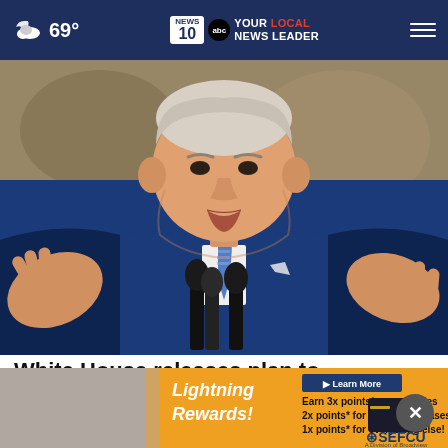69° | NEWS 10 abc YOUR LOCAL NEWS LEADER
[Figure (photo): President Biden speaking at a podium with two microphones, wearing a blue suit and striped tie, gesturing with both hands raised, in what appears to be the White House]
White House releases plan to boost housing supply
[Figure (infographic): Lightning Rewards advertisement for SEFCU: Earn 3x points on groceries, 2x points for online purchases, 1x points for everything else! Learn More. SEFCU A Division of Broadview.]